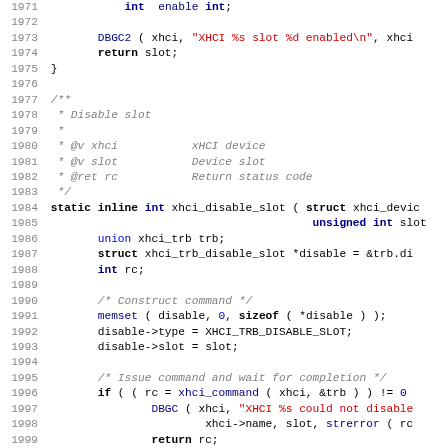[Figure (screenshot): Source code listing showing C code for xhci_disable_slot function, lines 1971-2003, with syntax highlighting: line numbers in gray, keywords in bold black/dark blue, strings in red, comments in gray italic, numeric literals in blue.]